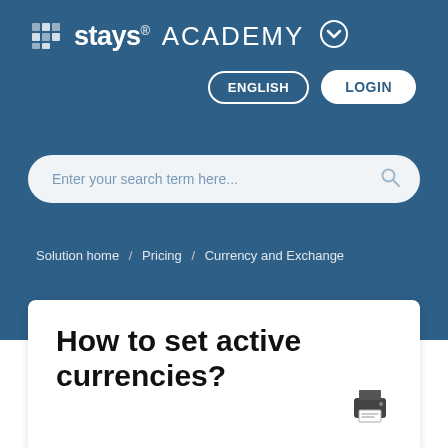stays® ACADEMY
ENGLISH   LOGIN
Enter your search term here...
Solution home / Pricing / Currency and Exchange
How to set active currencies?